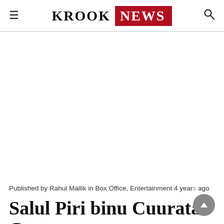KROOK NEWS
Published by Rahul Mallik in Box Office, Entertainment 4 years ago
Salul Piri binu Cuurata C...